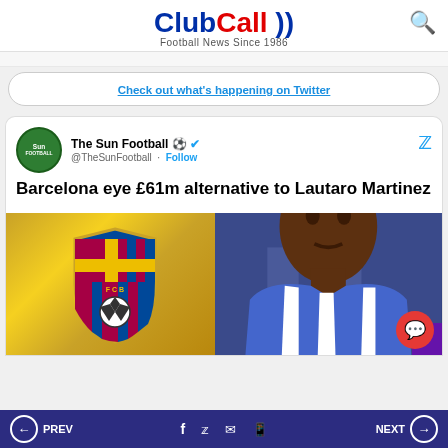ClubCall - Football News Since 1986
Check out what's happening on Twitter
The Sun Football @TheSunFootball · Follow
Barcelona eye £61m alternative to Lautaro Martinez
[Figure (screenshot): FC Barcelona crest logo alongside a player in blue and white striped kit]
PREV | social icons | NEXT